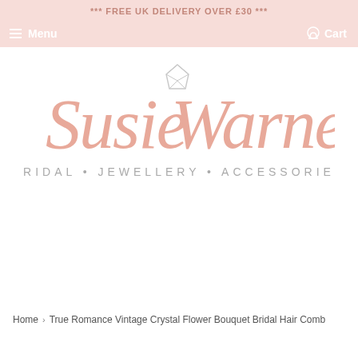*** FREE UK DELIVERY OVER £30 ***
Menu   Cart
[Figure (logo): Susie Warner Bridal Jewellery Accessories logo in pink/rose gold script with a diamond icon]
Home › True Romance Vintage Crystal Flower Bouquet Bridal Hair Comb